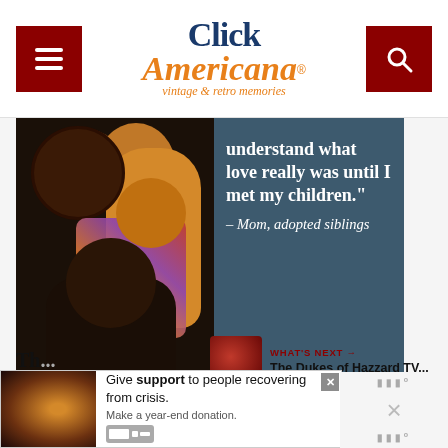Click Americana — vintage & retro memories
[Figure (photo): Dave Thomas Foundation for Adoption advertisement showing a family of four smiling together with quote: 'understand what love really was until I met my children.' — Mom, adopted siblings]
[Figure (infographic): What's Next thumbnail showing The Dukes of Hazzard TV...]
[Figure (photo): Bottom banner ad: Give support to people recovering from crisis. Make a year-end donation.]
Th...